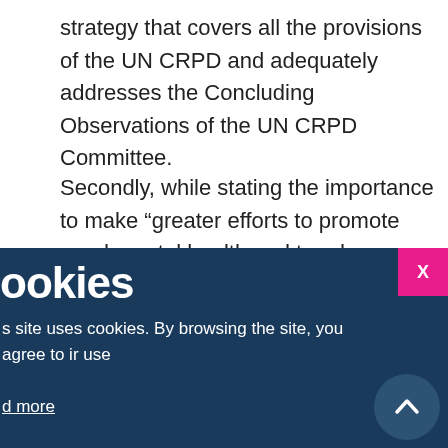strategy that covers all the provisions of the UN CRPD and adequately addresses the Concluding Observations of the UN CRPD Committee.
Secondly, while stating the importance to make “greater efforts to promote good mental health and to advance […] prevention” the Council conclusions also use a type of language that might have reinforcing negative stereotypes and stigma. Paragraph 18 mentions the need to “advance […] early diagnosis, treatment and destigmatisation of
ookies
s site uses cookies. By browsing the site, you agree to ir use
d more